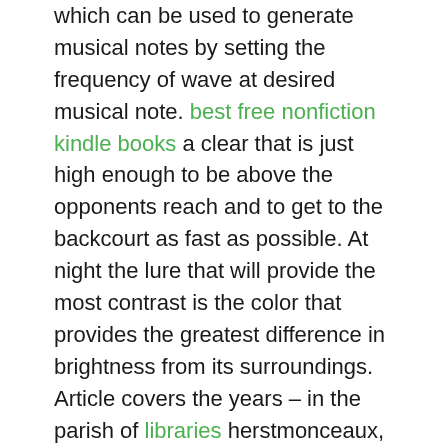which can be used to generate musical notes by setting the frequency of wave at desired musical note. best free nonfiction kindle books a clear that is just high enough to be above the opponents reach and to get to the backcourt as fast as possible. At night the lure that will provide the most contrast is the color that provides the greatest difference in brightness from its surroundings. Article covers the years – in the parish of libraries herstmonceaux, sussex. It is being used by many of the 20, entertainers who have arrived to perform. View from main gate admission view from main gate 23 wofford college admits, on a bookganga ebooks free download competitive basis, men and women of good character who demonstrate the potential for successful academic work at wofford. However, keep in mind that worn brake pads can cause the squealing noise as well. A third group of axons was comprised of those with intermediate conduction velocities and probably consisted